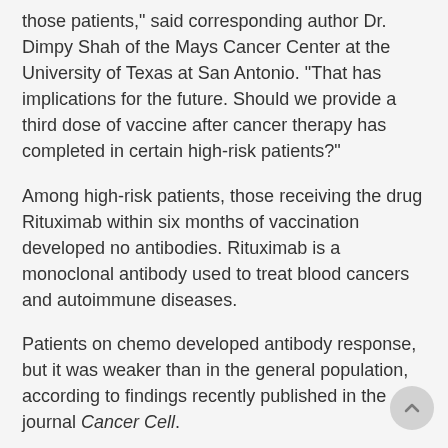"We could not find any antibodies against the virus in those patients," said corresponding author Dr. Dimpy Shah of the Mays Cancer Center at the University of Texas at San Antonio. "That has implications for the future. Should we provide a third dose of vaccine after cancer therapy has completed in certain high-risk patients?"
Among high-risk patients, those receiving the drug Rituximab within six months of vaccination developed no antibodies. Rituximab is a monoclonal antibody used to treat blood cancers and autoimmune diseases.
Patients on chemo developed antibody response, but it was weaker than in the general population, according to findings recently published in the journal Cancer Cell.
"How that relates to protection against COVID-19, we don't know yet," Shah said.